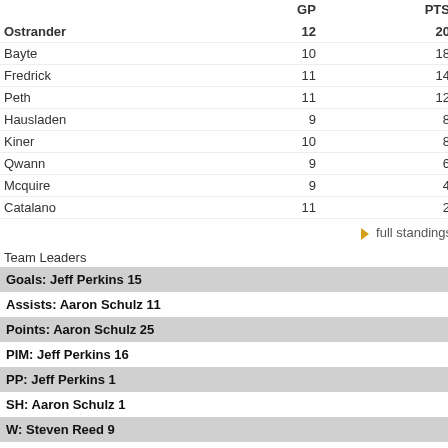|  | GP | PTS |
| --- | --- | --- |
| Ostrander | 12 | 20 |
| Bayte | 10 | 18 |
| Fredrick | 11 | 14 |
| Peth | 11 | 12 |
| Hausladen | 9 | 8 |
| Kiner | 10 | 8 |
| Qwann | 9 | 6 |
| Mcquire | 9 | 4 |
| Catalano | 11 | 2 |
full standings
Team Leaders
Goals: Jeff Perkins 15
Assists: Aaron Schulz 11
Points: Aaron Schulz 25
PIM: Jeff Perkins 16
PP: Jeff Perkins 1
SH: Aaron Schulz 1
W: Steven Reed 9
full team stats
Next Game Preview
No upcoming games
Recent Games (home on top)
Ostrander 2
Fredrick 0
Ostrander 6
Hausladen 1
Kiner 0
Ostrander 4